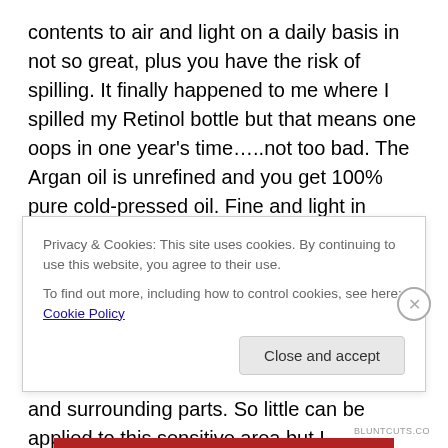contents to air and light on a daily basis in not so great, plus you have the risk of spilling. It finally happened to me where I spilled my Retinol bottle but that means one oops in one year's time…..not too bad. The Argan oil is unrefined and you get 100% pure cold-pressed oil. Fine and light in texture and my eyes love this stuff. I get zero issues when it comes to eye make-up application the following day. Primers are great for staying and longevity power with eye shadows and the like, but can be drying and stressful to the skin on your eye's lid and surrounding parts. So little can be applied to this sensitive area but I
Privacy & Cookies: This site uses cookies. By continuing to use this website, you agree to their use.
To find out more, including how to control cookies, see here: Cookie Policy